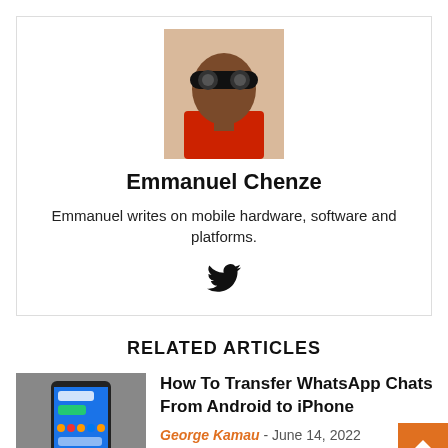[Figure (photo): Headshot of Emmanuel Chenze wearing VR/AR headset goggles and red shirt]
Emmanuel Chenze
Emmanuel writes on mobile hardware, software and platforms.
[Figure (logo): Twitter bird icon]
RELATED ARTICLES
[Figure (photo): Thumbnail image showing WhatsApp chats on a smartphone]
How To Transfer WhatsApp Chats From Android to iPhone
George Kamau - June 14, 2022